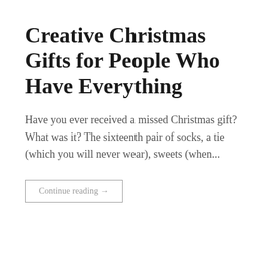Creative Christmas Gifts for People Who Have Everything
Have you ever received a missed Christmas gift? What was it? The sixteenth pair of socks, a tie (which you will never wear), sweets (when...
Continue reading →